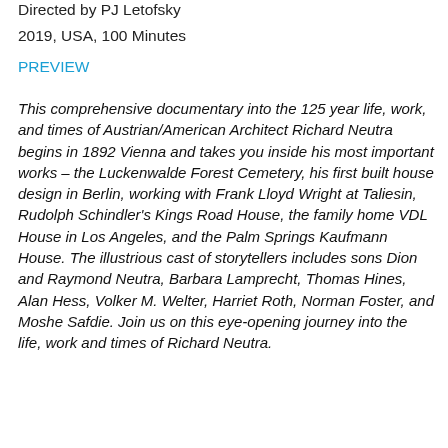Directed by PJ Letofsky
2019, USA, 100 Minutes
PREVIEW
This comprehensive documentary into the 125 year life, work, and times of Austrian/American Architect Richard Neutra begins in 1892 Vienna and takes you inside his most important works – the Luckenwalde Forest Cemetery, his first built house design in Berlin, working with Frank Lloyd Wright at Taliesin, Rudolph Schindler's Kings Road House, the family home VDL House in Los Angeles, and the Palm Springs Kaufmann House. The illustrious cast of storytellers includes sons Dion and Raymond Neutra, Barbara Lamprecht, Thomas Hines, Alan Hess, Volker M. Welter, Harriet Roth, Norman Foster, and Moshe Safdie. Join us on this eye-opening journey into the life, work and times of Richard Neutra.